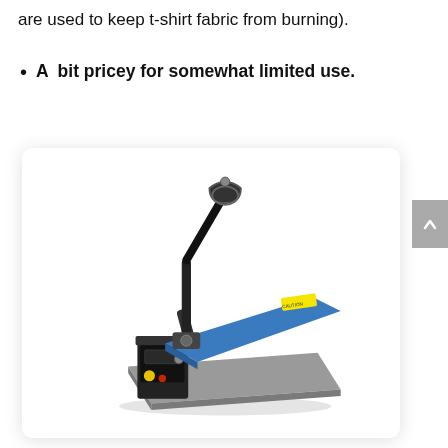are used to keep t-shirt fabric from burning).
A bit pricey for somewhat limited use.
[Figure (photo): A heat press machine with a blue upper platen arm raised at an angle, black metal frame, control panel on the left side, and a gray lower platen surface. The machine is shown in open position with the handle pointing upward.]